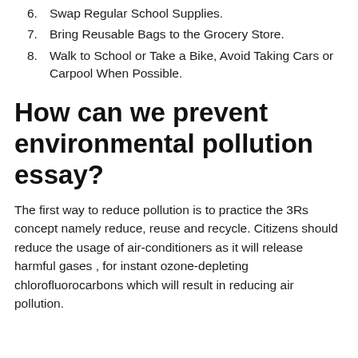6. Swap Regular School Supplies.
7. Bring Reusable Bags to the Grocery Store.
8. Walk to School or Take a Bike, Avoid Taking Cars or Carpool When Possible.
How can we prevent environmental pollution essay?
The first way to reduce pollution is to practice the 3Rs concept namely reduce, reuse and recycle. Citizens should reduce the usage of air-conditioners as it will release harmful gases , for instant ozone-depleting chlorofluorocarbons which will result in reducing air pollution.